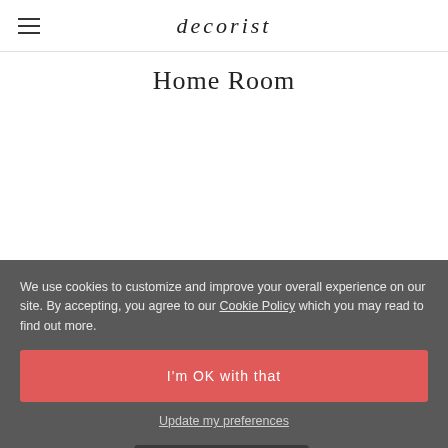decorist
Home Room
We use cookies to customize and improve your overall experience on our site. By accepting, you agree to our Cookie Policy which you may read to find out more.
I'm OK with that
Update my preferences